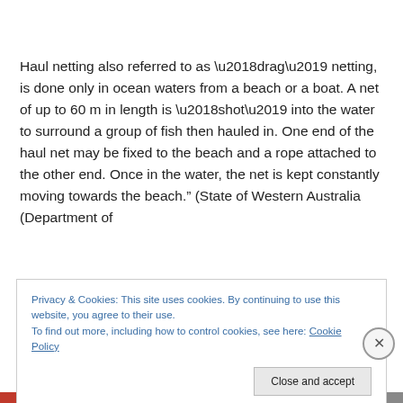Haul netting also referred to as ‘drag’ netting, is done only in ocean waters from a beach or a boat. A net of up to 60 m in length is ‘shot’ into the water to surround a group of fish then hauled in. One end of the haul net may be fixed to the beach and a rope attached to the other end. Once in the water, the net is kept constantly moving towards the beach.” (State of Western Australia (Department of
Privacy & Cookies: This site uses cookies. By continuing to use this website, you agree to their use.
To find out more, including how to control cookies, see here: Cookie Policy
Close and accept